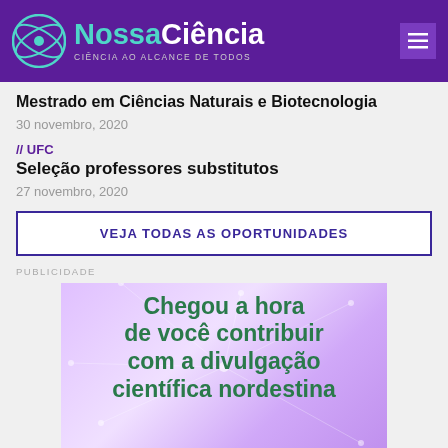NossaCiência — CIÊNCIA AO ALCANCE DE TODOS
Mestrado em Ciências Naturais e Biotecnologia
30 novembro, 2020
// UFC
Seleção professores substitutos
27 novembro, 2020
VEJA TODAS AS OPORTUNIDADES
PUBLICIDADE
[Figure (illustration): Advertisement banner with purple gradient background and network lines, text reads: Chegou a hora de você contribuir com a divulgação científica nordestina]